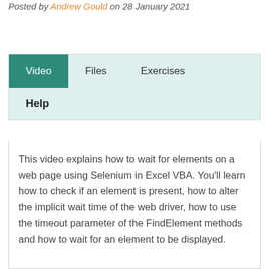Posted by Andrew Gould on 28 January 2021
[Figure (screenshot): Tab navigation widget with 'Video' tab active (teal background), 'Files' and 'Exercises' tabs, and a 'Help' label below, all on a light teal background]
This video explains how to wait for elements on a web page using Selenium in Excel VBA. You'll learn how to check if an element is present, how to alter the implicit wait time of the web driver, how to use the timeout parameter of the FindElement methods and how to wait for an element to be displayed.